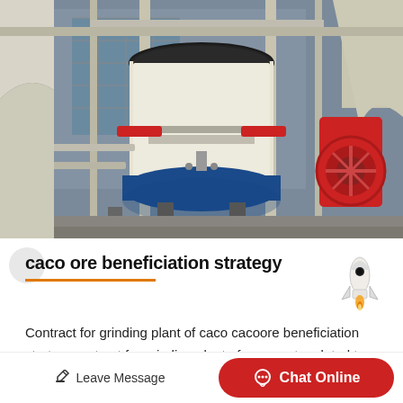[Figure (photo): Industrial grinding/milling machine equipment in a factory setting. Large cream/beige cylindrical cone crusher or vertical mill in the center with blue base ring, supported by metal frame structure. Red flywheel/jaw crusher visible on the right. Various pipes and support columns visible. Outdoor industrial facility.]
caco ore beneficiation strategy
Contract for grinding plant of caco cacoore beneficiation strategycontract for grinding plant of cacoposts related to use calcium carbonate powder making machine equipment…
Leave Message
Chat Online